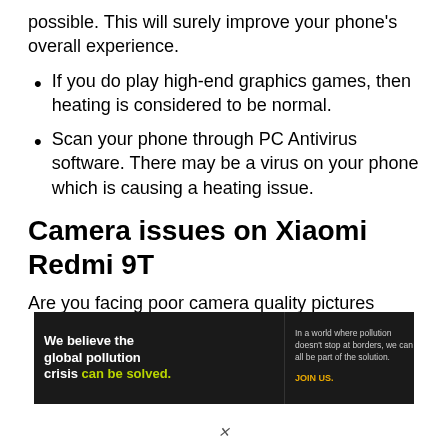possible. This will surely improve your phone’s overall experience.
If you do play high-end graphics games, then heating is considered to be normal.
Scan your phone through PC Antivirus software. There may be a virus on your phone which is causing a heating issue.
Camera issues on Xiaomi Redmi 9T
Are you facing poor camera quality pictures
[Figure (infographic): Pure Earth advertisement banner. Black background with text: 'We believe the global pollution crisis can be solved.' in white and green. Right side: 'In a world where pollution doesn’t stop at borders, we can all be part of the solution. JOIN US.' with Pure Earth logo (diamond shape with 'PURE EARTH' text).]